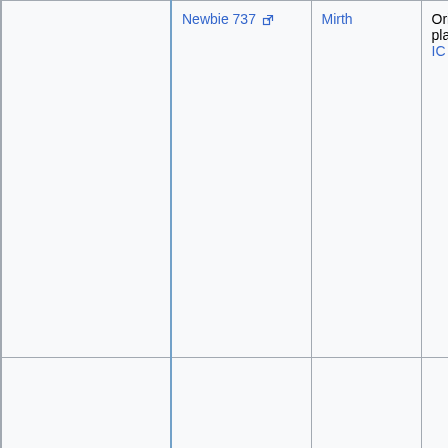|  | Newbie 737 [ext] | Mirth | Original player, IC |
|  |  |  |  |